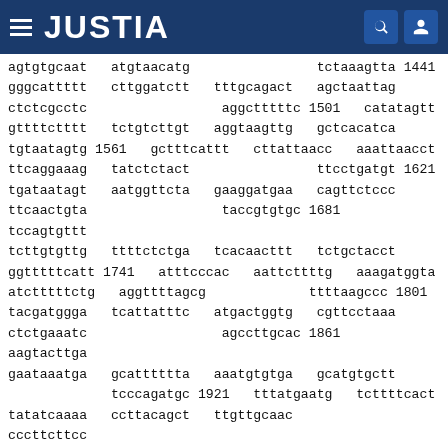JUSTIA
agtgtgcaat  atgtaacatg               tctaaagtta 1441
gggcattttt  cttggatctt  tttgcagact  agctaattag
ctctcgcctc               aggctttttc 1501   catatagtt
gttttctttt  tctgtcttgt  aggtaagttg  gctcacatca
tgtaatagtg 1561  gctttcattt  cttattaacc  aaattaacct
ttcaggaaag  tatctctact               ttcctgatgt 1621
tgataatagt  aatggttcta  gaaggatgaa  cagttctccc
ttcaactgta               taccgtgtgc 1681  tccagtgttt
tcttgtgttg  ttttctctga  tcacaacttt  tctgctacct
ggtttcatt 1741  atttcccac  aattcttttg  aaagatggta
atctttctg   aggttttagcg              ttttaagccc 1801
tacgatggga  tcattatttc  atgactggtg  cgttcctaaa
ctctgaaatc               agccttgcac 1861  aagtacttga
gaataaatga  gcattttttta  aaatgtgtga  gcatgtgctt
           tcccagatgc 1921  tttatgaatg  tcttttcact
tatatcaaaa  ccttacagct  ttgttgcaac               cccttcttcc
1981  tgcgccttat  tttttccttt  cttctccaat  tgagaaaact